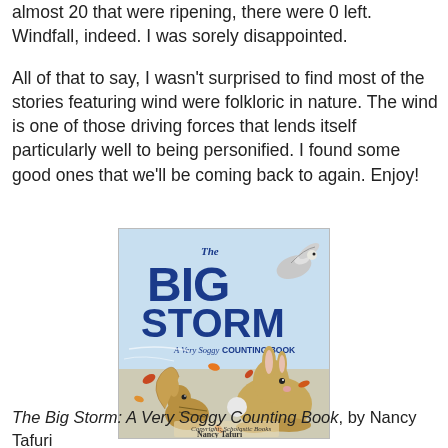almost 20 that were ripening, there were 0 left. Windfall, indeed. I was sorely disappointed.
All of that to say, I wasn't surprised to find most of the stories featuring wind were folkloric in nature. The wind is one of those driving forces that lends itself particularly well to being personified. I found some good ones that we'll be coming back to again. Enjoy!
[Figure (illustration): Book cover of 'The Big Storm: A Very Soggy Counting Book' by Nancy Tafuri, showing illustrated rabbits and a bird with autumn leaves blowing in wind against a light blue background.]
The Big Storm: A Very Soggy Counting Book, by Nancy Tafuri